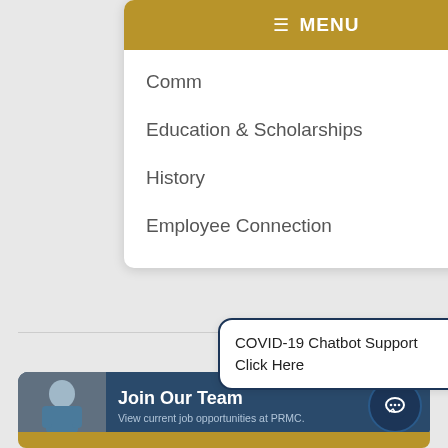[Figure (screenshot): Dropdown navigation menu card with golden header bar showing hamburger icon and MENU text, followed by navigation links: Comm[unity] (truncated), Education & Scholarships, History, Employee Connection]
Comm...
Education & Scholarships
History
Employee Connection
COVID-19 Chatbot Support
Click Here
Join Our Team
View current job opportunities at PRMC.